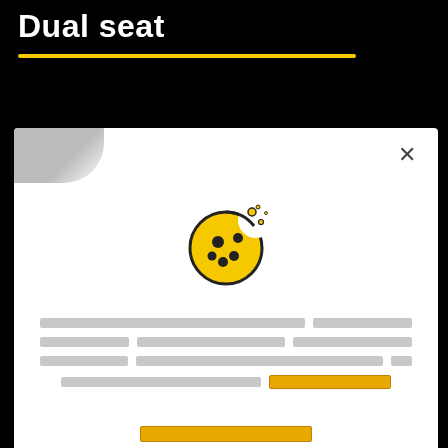Dual seat
[Figure (screenshot): Cookie consent modal dialog with cookie icon, blurred/redacted body text, a link placeholder, a yellow accept button, and a close X button in the top right. Shown overlaying a dark motorcycle product page with 'Dual seat' heading and yellow underline.]
...flat seat, which is comfortable both for rider and passenger.